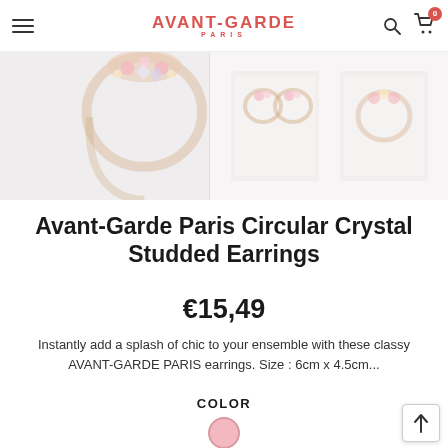AVANT-GARDE PARIS — navigation bar with menu, logo, search, and cart (0 items)
[Figure (photo): Product photos of Avant-Garde Paris Circular Crystal Studded Earrings — main close-up on left showing crystal-studded hoop earring, and secondary thumbnail on right showing the pair]
Avant-Garde Paris Circular Crystal Studded Earrings
€15,49
Instantly add a splash of chic to your ensemble with these classy AVANT-GARDE PARIS earrings. Size : 6cm x 4.5cm...
COLOR